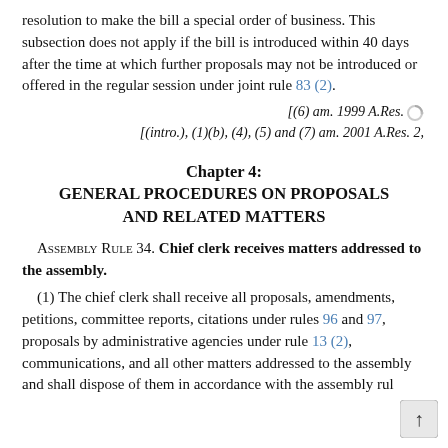resolution to make the bill a special order of business. This subsection does not apply if the bill is introduced within 40 days after the time at which further proposals may not be introduced or offered in the regular session under joint rule 83 (2).
[(6) am. 1999 A.Res. [(intro.), (1)(b), (4), (5) and (7) am. 2001 A.Res. 2,
Chapter 4: GENERAL PROCEDURES ON PROPOSALS AND RELATED MATTERS
Assembly Rule 34. Chief clerk receives matters addressed to the assembly.
(1) The chief clerk shall receive all proposals, amendments, petitions, committee reports, citations under rules 96 and 97, proposals by administrative agencies under rule 13 (2), communications, and all other matters addressed to the assembly and shall dispose of them in accordance with the assembly rule